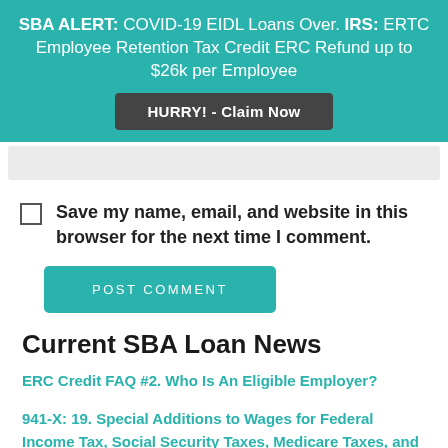SBA ALERT: COVID-19 EIDL Loans Over. IRS: ERTC Employee Retention Tax Credit ERC Refund up to $26k per Employee
HURRY! - Claim Now
Save my name, email, and website in this browser for the next time I comment.
POST COMMENT
Current SBA Loan News
ERC Credit FAQ #2. Who Is An Eligible Employer?
941-X: 19. Special Additions to Wages for Federal Income Tax, Social Security Taxes, Medicare Taxes, and Additional Medicare Tax, Form Instructions